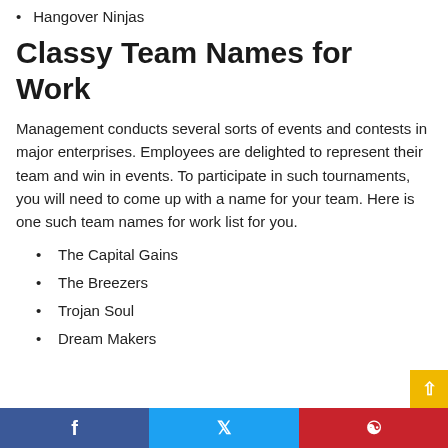Hangover Ninjas
Classy Team Names for Work
Management conducts several sorts of events and contests in major enterprises. Employees are delighted to represent their team and win in events. To participate in such tournaments, you will need to come up with a name for your team. Here is one such team names for work list for you.
The Capital Gains
The Breezers
Trojan Soul
Dream Makers